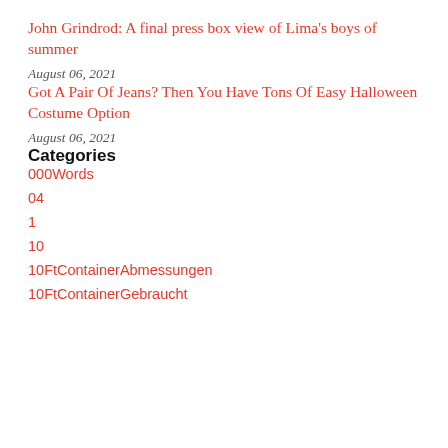John Grindrod: A final press box view of Lima's boys of summer
August 06, 2021
Got A Pair Of Jeans? Then You Have Tons Of Easy Halloween Costume Option
August 06, 2021
Categories
000Words
04
1
10
10FtContainerAbmessungen
10FtContainerGebraucht